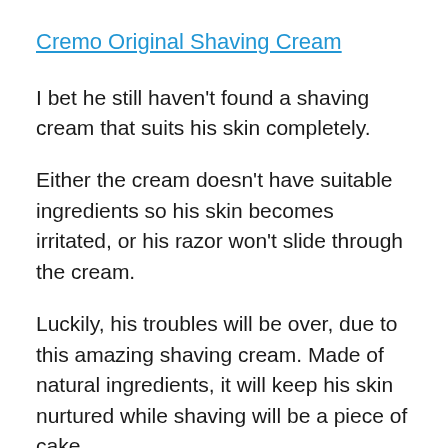Cremo Original Shaving Cream
I bet he still haven't found a shaving cream that suits his skin completely.
Either the cream doesn't have suitable ingredients so his skin becomes irritated, or his razor won't slide through the cream.
Luckily, his troubles will be over, due to this amazing shaving cream. Made of natural ingredients, it will keep his skin nurtured while shaving will be a piece of cake.
5. If he accidently cut his